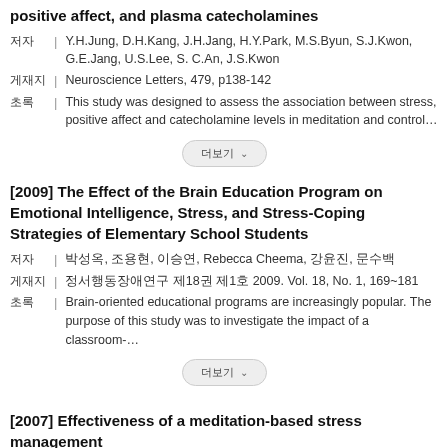positive affect, and plasma catecholamines
저자 | Y.H.Jung, D.H.Kang, J.H.Jang, H.Y.Park, M.S.Byun, S.J.Kwon, G.E.Jang, U.S.Lee, S. C.An, J.S.Kwon
게재지 | Neuroscience Letters, 479, p138-142
초록 | This study was designed to assess the association between stress, positive affect and catecholamine levels in meditation and control…
더보기
[2009] The Effect of the Brain Education Program on Emotional Intelligence, Stress, and Stress-Coping Strategies of Elementary School Students
저자 | 박성옥, 조용현, 이승연, Rebecca Cheema, 강윤진, 문수백
게재지 | 정서행동장애연구 제18권 제1호 2009. Vol. 18, No. 1, 169~181
초록 | Brain-oriented educational programs are increasingly popular. The purpose of this study was to investigate the impact of a classroom-…
더보기
[2007] Effectiveness of a meditation-based stress management